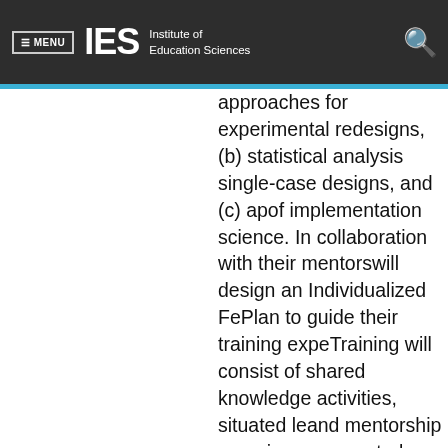≡ MENU  IES  Institute of Education Sciences
approaches for experimental re... designs, (b) statistical analysis single-case designs, and (c) ap... of implementation science. In collaboration with their mentors will design an Individualized Fe... Plan to guide their training expe... Training will consist of shared knowledge activities, situated le... and mentorship experiences, a... central participatory activities. S... knowledge activities will include... instruction and fellowship semi... Some elements of this plan will... standard for all fellows (i.e., methodological seminar, profes... development seminar, and cou... statistics and research design)